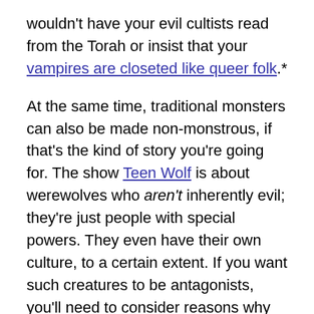wouldn't have your evil cultists read from the Torah or insist that your vampires are closeted like queer folk.*
At the same time, traditional monsters can also be made non-monstrous, if that's the kind of story you're going for. The show Teen Wolf is about werewolves who aren't inherently evil; they're just people with special powers. They even have their own culture, to a certain extent. If you want such creatures to be antagonists, you'll need to consider reasons why groups might come into conflict other than plain old evil, and that brings us to…
Antagonistic Groups Require